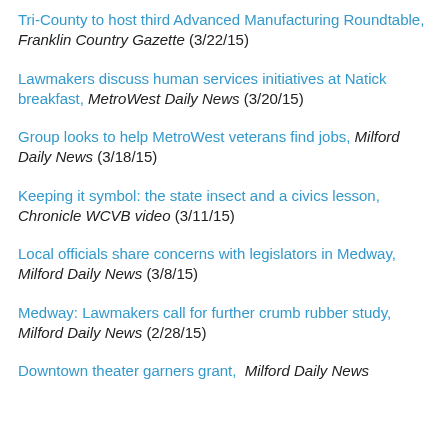Tri-County to host third Advanced Manufacturing Roundtable, Franklin Country Gazette (3/22/15)
Lawmakers discuss human services initiatives at Natick breakfast, MetroWest Daily News (3/20/15)
Group looks to help MetroWest veterans find jobs, Milford Daily News (3/18/15)
Keeping it symbol: the state insect and a civics lesson, Chronicle WCVB video (3/11/15)
Local officials share concerns with legislators in Medway, Milford Daily News (3/8/15)
Medway: Lawmakers call for further crumb rubber study, Milford Daily News (2/28/15)
Downtown theater garners grant, Milford Daily News